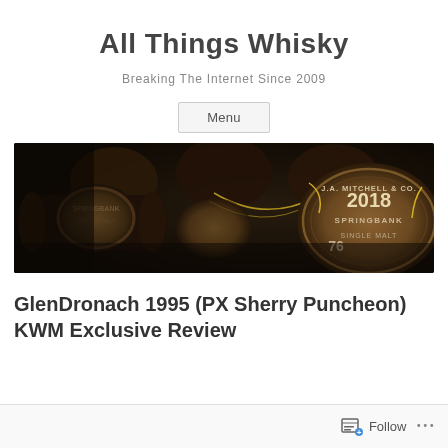All Things Whisky
Breaking The Internet Since 2009
Menu
[Figure (photo): Dark warehouse photo of whisky barrels/casks stacked on their sides, with one visible cask branded 'J.A. Mitchell & Co. 2018 Springbank Single Malt No. 76' with a yellow chain.]
GlenDronach 1995 (PX Sherry Puncheon) KWM Exclusive Review
Follow  ...